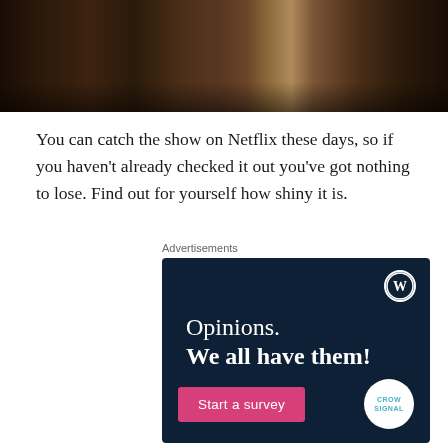[Figure (photo): Dark food/nature photograph at top of page, showing mushrooms and organic material against a dark background]
You can catch the show on Netflix these days, so if you haven't already checked it out you've got nothing to lose. Find out for yourself how shiny it is.
Advertisements
[Figure (infographic): WordPress advertisement with dark navy blue background. WordPress logo (W in circle) in top-right corner. Text reads 'Opinions. We all have them!' with a pink 'Start a survey' button and Crowdsignal logo in bottom-right.]